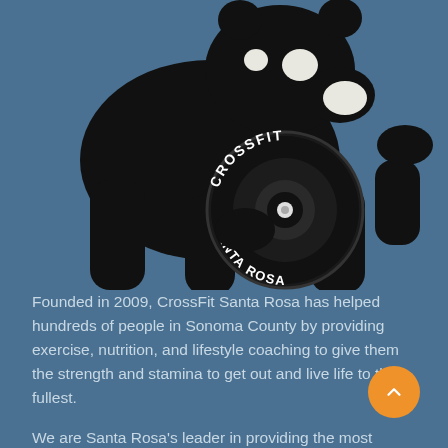[Figure (logo): CrossFit Santa Rosa logo: black silhouette of a bear holding a barbell weight plate. The circular weight plate has 'CROSSFIT' on the top arc and 'SANTA ROSA' on the bottom arc in white text on black background.]
Founded in 2009, CrossFit Santa Rosa has helped hundreds of people in Sonoma County by providing exercise, nutrition, and lifestyle coaching to give them the strength and stamina to get out and live life to the fullest.
We are Santa Rosa's leader in providing the most effective functional and athletic training for your strength training, injury rehab, or weight loss goals.